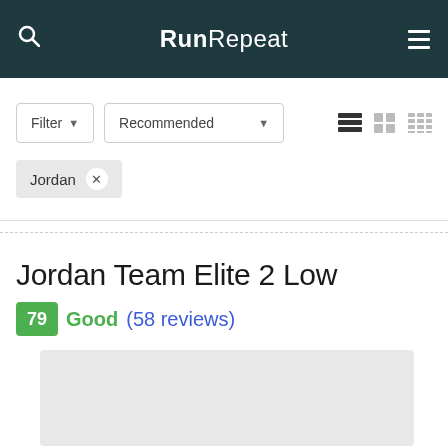RunRepeat
Filter ▾  Recommended ▾
Jordan ×
Jordan Team Elite 2 Low
79 Good (58 reviews)
[Figure (photo): Product image placeholder - light gray rectangle]